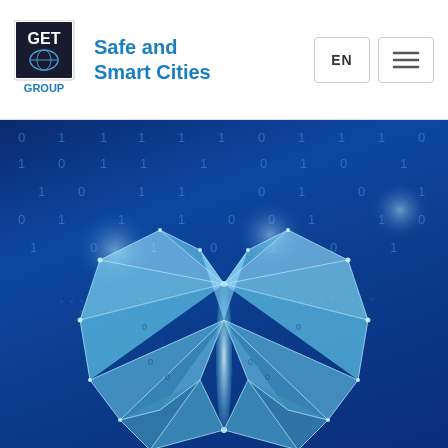GET GROUP — Safe and Smart Cities | EN | Menu
[Figure (illustration): Digital blue background with binary 0s and 1s, featuring a geometric low-poly butterfly made of cyan triangular facets with glowing edges and nodes, overlaid on a faint world map grid pattern]